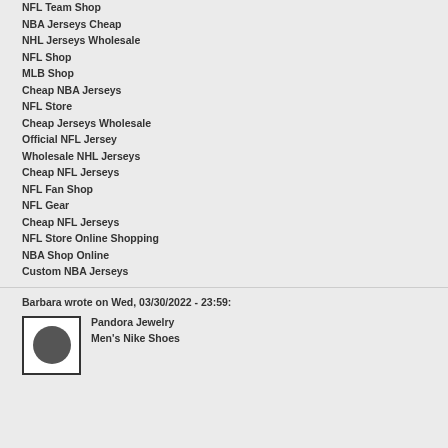NFL Team Shop
NBA Jerseys Cheap
NHL Jerseys Wholesale
NFL Shop
MLB Shop
Cheap NBA Jerseys
NFL Store
Cheap Jerseys Wholesale
Official NFL Jersey
Wholesale NHL Jerseys
Cheap NFL Jerseys
NFL Fan Shop
NFL Gear
Cheap NFL Jerseys
NFL Store Online Shopping
NBA Shop Online
Custom NBA Jerseys
Barbara wrote on Wed, 03/30/2022 - 23:59:
Pandora Jewelry
Men's Nike Shoes